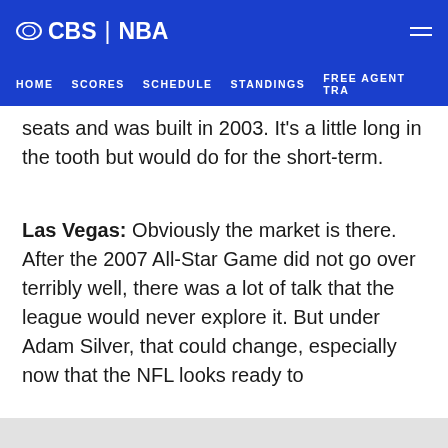CBS | NBA
HOME  SCORES  SCHEDULE  STANDINGS  FREE AGENT TRA
seats and was built in 2003. It's a little long in the tooth but would do for the short-term.
Las Vegas: Obviously the market is there. After the 2007 All-Star Game did not go over terribly well, there was a lot of talk that the league would never explore it. But under Adam Silver, that could change, especially now that the NFL looks ready to